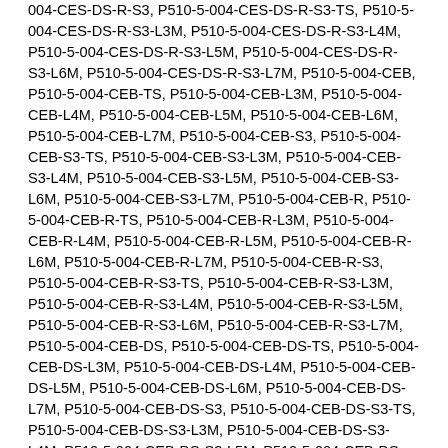004-CES-DS-R-S3, P510-5-004-CES-DS-R-S3-TS, P510-5-004-CES-DS-R-S3-L3M, P510-5-004-CES-DS-R-S3-L4M, P510-5-004-CES-DS-R-S3-L5M, P510-5-004-CES-DS-R-S3-L6M, P510-5-004-CES-DS-R-S3-L7M, P510-5-004-CEB, P510-5-004-CEB-TS, P510-5-004-CEB-L3M, P510-5-004-CEB-L4M, P510-5-004-CEB-L5M, P510-5-004-CEB-L6M, P510-5-004-CEB-L7M, P510-5-004-CEB-S3, P510-5-004-CEB-S3-TS, P510-5-004-CEB-S3-L3M, P510-5-004-CEB-S3-L4M, P510-5-004-CEB-S3-L5M, P510-5-004-CEB-S3-L6M, P510-5-004-CEB-S3-L7M, P510-5-004-CEB-R, P510-5-004-CEB-R-TS, P510-5-004-CEB-R-L3M, P510-5-004-CEB-R-L4M, P510-5-004-CEB-R-L5M, P510-5-004-CEB-R-L6M, P510-5-004-CEB-R-L7M, P510-5-004-CEB-R-S3, P510-5-004-CEB-R-S3-TS, P510-5-004-CEB-R-S3-L3M, P510-5-004-CEB-R-S3-L4M, P510-5-004-CEB-R-S3-L5M, P510-5-004-CEB-R-S3-L6M, P510-5-004-CEB-R-S3-L7M, P510-5-004-CEB-DS, P510-5-004-CEB-DS-TS, P510-5-004-CEB-DS-L3M, P510-5-004-CEB-DS-L4M, P510-5-004-CEB-DS-L5M, P510-5-004-CEB-DS-L6M, P510-5-004-CEB-DS-L7M, P510-5-004-CEB-DS-S3, P510-5-004-CEB-DS-S3-TS, P510-5-004-CEB-DS-S3-L3M, P510-5-004-CEB-DS-S3-L4M, P510-5-004-CEB-DS-S3-L5M, P510-5-004-CEB-DS-S3-L6M, P510-5-004-CEB-DS-S3-L7M, P510-5-004-CEB-DS-R, P510-5-004-CEB-DS-R-TS, P510-5-004-CEB-DS-R-L3M, P510-5-004-CEB-DS-R-L4M, P510-5-004-CEB-DS-R-L5M, P510-5-004-CEB-DS-R-L4M, P510-5-004-CEB-DS-R-L4M, P510-5-004-CEB-DS-R-